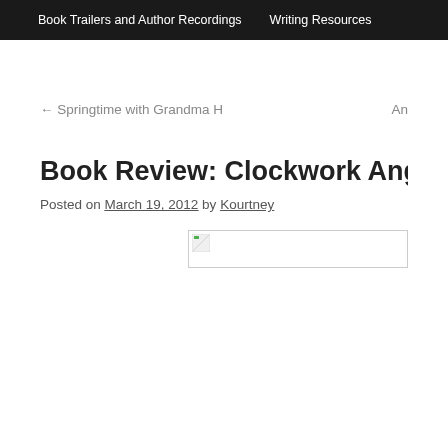Book Trailers and Author Recordings   Writing Resources
← Springtime with Grandma H   An
Book Review: Clockwork Angel by Cassa
Posted on March 19, 2012 by Kourtney
[Figure (photo): Broken/missing image placeholder in the upper right area of the content]